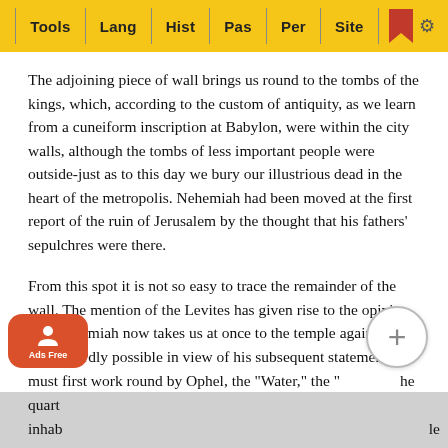Tools | Lang | Hist | Pas | Per | Site
The adjoining piece of wall brings us round to the tombs of the kings, which, according to the custom of antiquity, as we learn from a cuneiform inscription at Babylon, were within the city walls, although the tombs of less important people were outside-just as to this day we bury our illustrious dead in the heart of the metropolis. Nehemiah had been moved at the first report of the ruin of Jerusalem by the thought that his fathers’ sepulchres were there.
From this spot it is not so easy to trace the remainder of the wall. The mention of the Levites has given rise to the opinion that Nehemiah now takes us at once to the temple again, but this is hardly possible in view of his subsequent statements. must first work round by Ophel, the "Water," the " he "Horse" Gates-all of them apparently leading out towards the Valley of the Kidron. Levites and Priests, whose quart inhab le